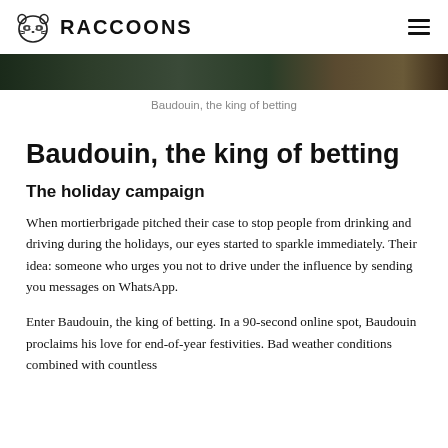RACCOONS
[Figure (photo): Dark outdoor photo banner, blurred colorful background.]
Baudouin, the king of betting
Baudouin, the king of betting
The holiday campaign
When mortierbrigade pitched their case to stop people from drinking and driving during the holidays, our eyes started to sparkle immediately. Their idea: someone who urges you not to drive under the influence by sending you messages on WhatsApp.
Enter Baudouin, the king of betting. In a 90-second online spot, Baudouin proclaims his love for end-of-year festivities. Bad weather conditions combined with countless